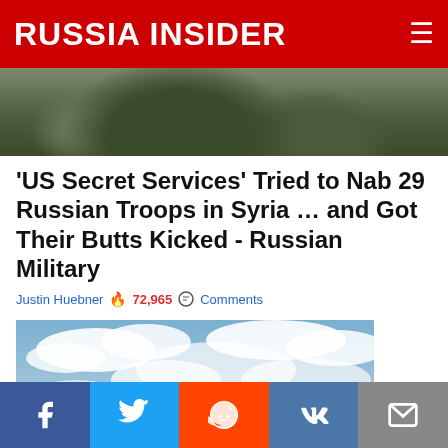RUSSIA INSIDER
[Figure (photo): Cropped photo of soldiers in camouflage uniforms]
'US Secret Services' Tried to Nab 29 Russian Troops in Syria … and Got Their Butts Kicked - Russian Military
Justin Huebner  🔥 72,965  💬 Comments
[Figure (photo): Two F-35 stealth fighter jets flying in formation against a cloudy sky]
Facebook | Twitter | Reddit | VK | Email share buttons